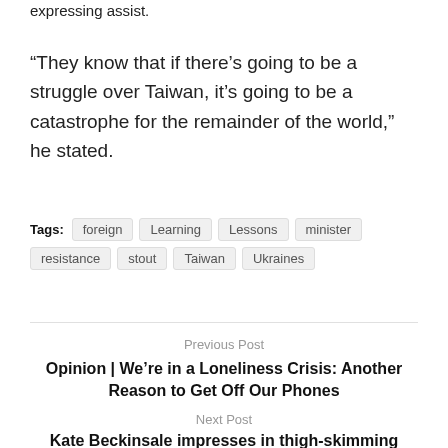expressing assist.
“They know that if there’s going to be a struggle over Taiwan, it’s going to be a catastrophe for the remainder of the world,” he stated.
Tags: foreign  Learning  Lessons  minister  resistance  stout  Taiwan  Ukraines
Previous Post
Opinion | We’re in a Loneliness Crisis: Another Reason to Get Off Our Phones
Next Post
Kate Beckinsale impresses in thigh-skimming minidress